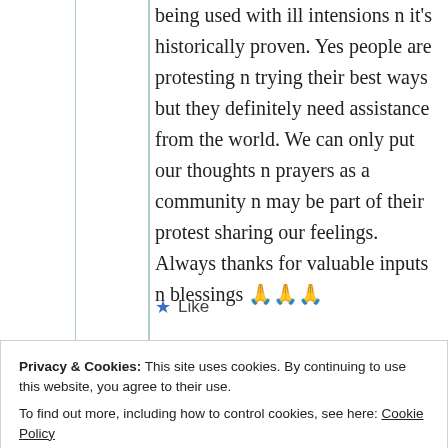being used with ill intensions n it's historically proven. Yes people are protesting n trying their best ways but they definitely need assistance from the world. We can only put our thoughts n prayers as a community n may be part of their protest sharing our feelings. Always thanks for valuable inputs n blessings 🙏🙏🙏
★ Like
Privacy & Cookies: This site uses cookies. By continuing to use this website, you agree to their use.
To find out more, including how to control cookies, see here: Cookie Policy
Close and accept
Jas krish